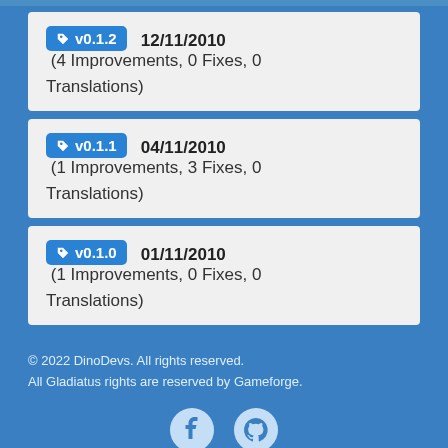v0.1.2  12/11/2010  (4 Improvements, 0 Fixes, 0 Translations)
v0.1.1  04/11/2010  (1 Improvements, 3 Fixes, 0 Translations)
v0.1.0  01/11/2010  (1 Improvements, 0 Fixes, 0 Translations)
© 2022 DinoDevs. All rights reserved.
All Gladiatus rights are reserved by Gameforge.
created by "DinoDevs"
This took our monkeys 0.15223 seconds